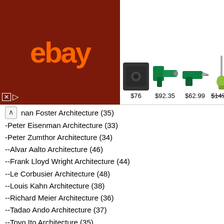[Figure (screenshot): eBay advertisement banner with logo and product images showing prices: $76, $92.35, $62.99, $149.99, ~$128, $129.99]
nan Foster Architecture (35)
-Peter Eisenman Architecture (33)
-Peter Zumthor Architecture (34)
--Alvar Aalto Architecture (46)
--Frank Lloyd Wright Architecture (44)
--Le Corbusier Architecture (48)
--Louis Kahn Architecture (38)
--Richard Meier Architecture (36)
--Tadao Ando Architecture (37)
--Toyo Ito Architecture (35)
--Zaha Hadid Architecture (35)
★CAD Blocks Collections (485)
★Architecture Projects🔥💎 (408)
★Architecture Drawings🔥💎 (534)
--Residential Construction Drawings (270)
--Exhibitions (118)